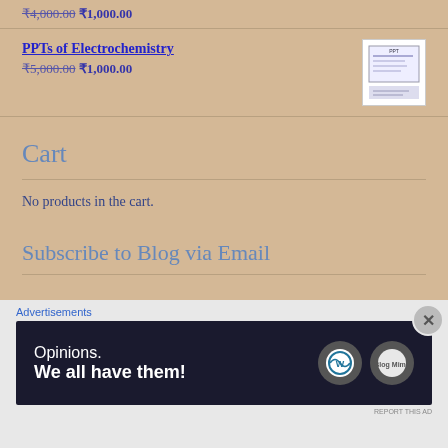₹4,000.00 ₹1,000.00
PPTs of Electrochemistry ₹5,000.00 ₹1,000.00
Cart
No products in the cart.
Subscribe to Blog via Email
Advertisements
[Figure (screenshot): Advertisement banner: 'Opinions. We all have them!' with WordPress and Daily Mail logos on dark background]